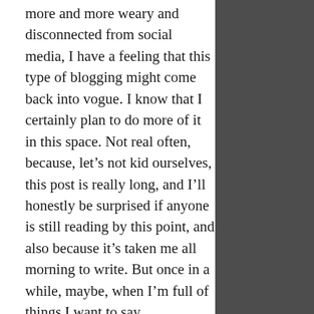more and more weary and disconnected from social media, I have a feeling that this type of blogging might come back into vogue. I know that I certainly plan to do more of it in this space. Not real often, because, let's not kid ourselves, this post is really long, and I'll honestly be surprised if anyone is still reading by this point, and also because it's taken me all morning to write. But once in a while, maybe, when I'm full of things I want to say.

What do you think? Do you miss this